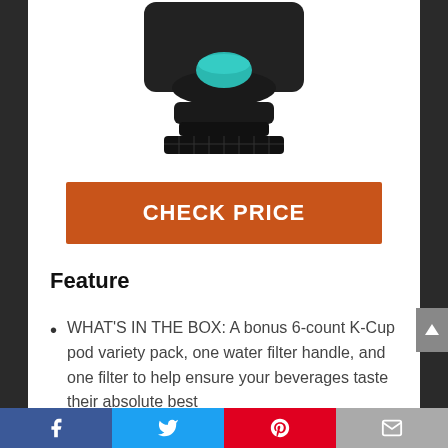[Figure (photo): Top portion of a Keurig coffee maker in black with a teal/turquoise K-Cup pod visible in the pod holder, shown against a white background.]
CHECK PRICE
Feature
WHAT'S IN THE BOX: A bonus 6-count K-Cup pod variety pack, one water filter handle, and one filter to help ensure your beverages taste their absolute best
Facebook | Twitter | Pinterest | Email